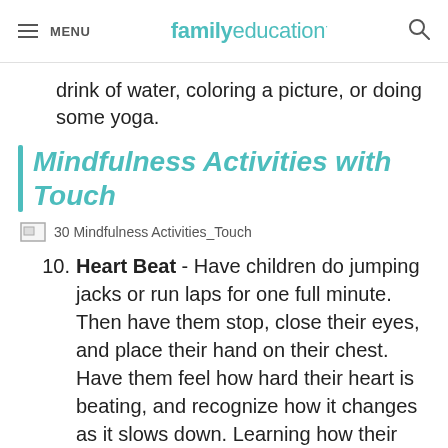MENU | familyeducation
drink of water, coloring a picture, or doing some yoga.
Mindfulness Activities with Touch
[Figure (other): Image placeholder: 30 Mindfulness Activities_Touch]
10. Heart Beat - Have children do jumping jacks or run laps for one full minute. Then have them stop, close their eyes, and place their hand on their chest. Have them feel how hard their heart is beating, and recognize how it changes as it slows down. Learning how their physical body feels as it regulates is a great